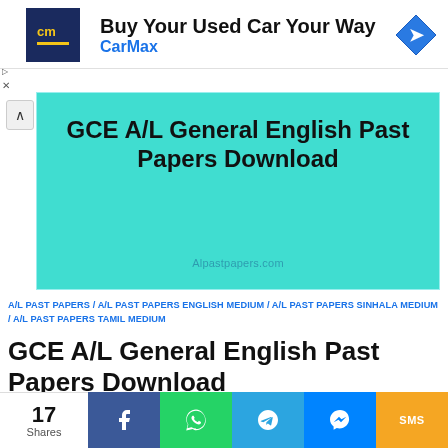[Figure (screenshot): CarMax advertisement banner with logo showing 'cm' in yellow on dark blue background, text 'Buy Your Used Car Your Way' and 'CarMax' in blue, with a blue diamond navigation arrow icon on the right.]
[Figure (screenshot): Teal/turquoise featured image with bold black text 'GCE A/L General English Past Papers Download' and watermark 'Alpastpapers.com' at bottom center.]
A/L PAST PAPERS / A/L PAST PAPERS ENGLISH MEDIUM / A/L PAST PAPERS SINHALA MEDIUM / A/L PAST PAPERS TAMIL MEDIUM
GCE A/L General English Past Papers Download
May 30, 2021 · by Master · Leave a Comment
[Figure (infographic): Social share bar with count '17 Shares' and buttons for Facebook, WhatsApp, Telegram, Messenger, and SMS.]